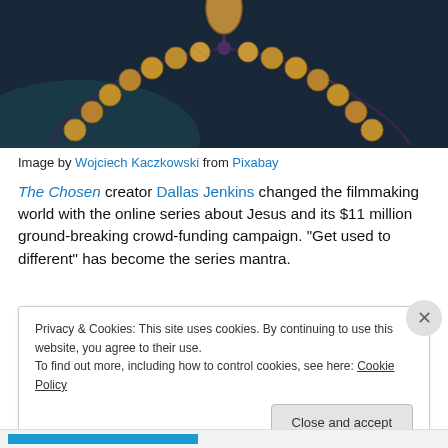[Figure (photo): Close-up photograph of wooden prayer beads/rosary on a dark background]
Image by Wojciech Kaczkowski from Pixabay
The Chosen creator Dallas Jenkins changed the filmmaking world with the online series about Jesus and its $11 million ground-breaking crowd-funding campaign. “Get used to different” has become the series mantra.
Privacy & Cookies: This site uses cookies. By continuing to use this website, you agree to their use.
To find out more, including how to control cookies, see here: Cookie Policy